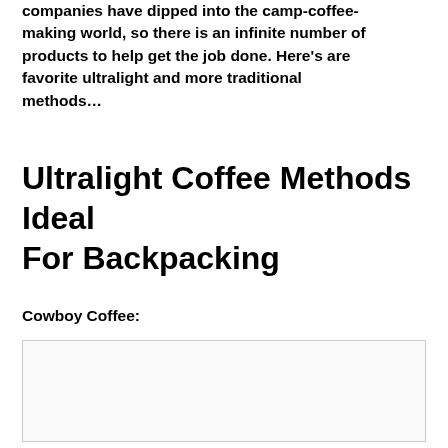companies have dipped into the camp-coffee-making world, so there is an infinite number of products to help get the job done. Here's are favorite ultralight and more traditional methods…
Ultralight Coffee Methods Ideal For Backpacking
Cowboy Coffee:
[Figure (photo): Image placeholder for cowboy coffee content]